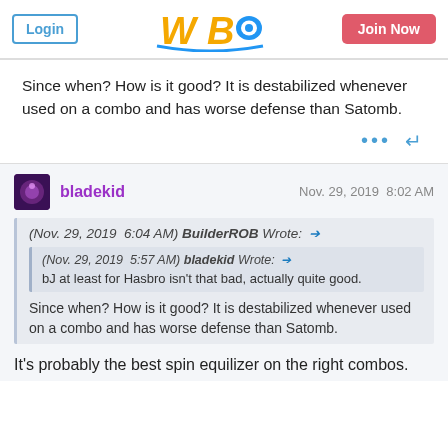Login | WBO | Join Now
Since when? How is it good? It is destabilized whenever used on a combo and has worse defense than Satomb.
bladekid  Nov. 29, 2019  8:02 AM
(Nov. 29, 2019  6:04 AM) BuilderROB Wrote: →
(Nov. 29, 2019  5:57 AM) bladekid Wrote: →
bJ at least for Hasbro isn't that bad, actually quite good.
Since when? How is it good? It is destabilized whenever used on a combo and has worse defense than Satomb.
It's probably the best spin equilizer on the right combos.